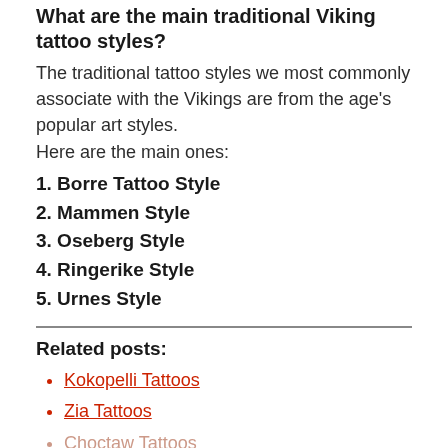What are the main traditional Viking tattoo styles?
The traditional tattoo styles we most commonly associate with the Vikings are from the age's popular art styles.
Here are the main ones:
1. Borre Tattoo Style
2. Mammen Style
3. Oseberg Style
4. Ringerike Style
5. Urnes Style
Related posts:
Kokopelli Tattoos
Zia Tattoos
Choctaw Tattoos
Love Spoon Tattoos